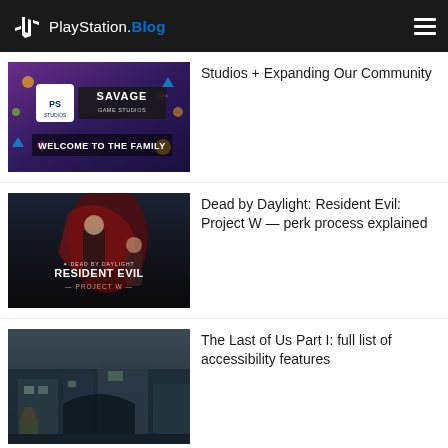PlayStation.Blog
[Figure (screenshot): Savage Game Studios welcome to the family promotional image with PlayStation Studios branding]
Studios + Expanding Our Community
[Figure (screenshot): Dead by Daylight: Resident Evil - Project W game art featuring characters]
Dead by Daylight: Resident Evil: Project W — perk process explained
[Figure (screenshot): The Last of Us Part I game screenshot showing post-apocalyptic environment]
The Last of Us Part I: full list of accessibility features